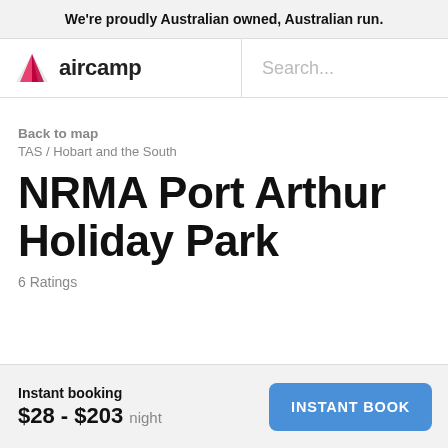We're proudly Australian owned, Australian run.
[Figure (logo): Aircamp logo: pink/red triangle tent icon with the word 'aircamp' in bold sans-serif]
Search...
Back to map
TAS / Hobart and the South
NRMA Port Arthur Holiday Park
6 Ratings
Instant booking
$28 - $203 night
INSTANT BOOK